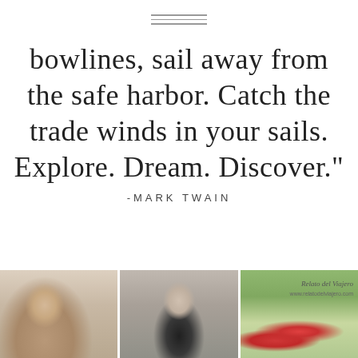[Figure (illustration): Three horizontal decorative lines serving as a divider]
bowlines, sail away from the safe harbor. Catch the trade winds in your sails. Explore. Dream. Discover."
-MARK TWAIN
[Figure (photo): Three side-by-side photographs: left shows a smiling man, center shows a dark-haired woman, right shows a field of red flowers with a script watermark reading 'Relato del Viajero']